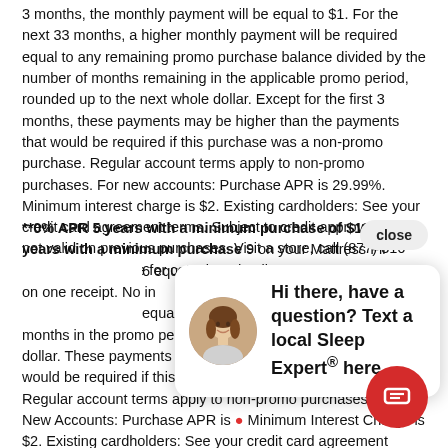3 months, the monthly payment will be equal to $1. For the next 33 months, a higher monthly payment will be required equal to any remaining promo purchase balance divided by the number of months remaining in the applicable promo period, rounded up to the next whole dollar. Except for the first 3 months, these payments may be higher than the payments that would be required if this purchase was a non-promo purchase. Regular account terms apply to non-promo purchases. For new accounts: Purchase APR is 29.99%. Minimum interest charge is $2. Existing cardholders: See your credit card agreement terms. Subject to credit approval. Offer not valid on previous purchases. Visit a store, call (877) 316-1269 or chat online for complete details.
**0% APR 5 years with a minimum purchase of $1999. 4 years with a minimum purchase of [amount]. [text obscured] on your Mattress Firm [text obscured] equal monthly payments [text obscured] on one receipt. No interest [text obscured] are required on promo [text obscured] equal the initial total [text obscured] months in the promo period, rounded up to the next whole dollar. These payments may be higher than the payments that would be required if this purchase was a non-promo purchase. Regular account terms apply to non-promo purchases. For New Accounts: Purchase APR is [rate]. Minimum Interest Charge is $2. Existing cardholders: See your credit card agreement terms. Visit a store or see mattressfirm.com
[Figure (other): Chat widget overlay showing a smiling woman avatar and text 'Hi there, have a question? Text a local Sleep Expert® here.' with a close button and red chat bubble button.]